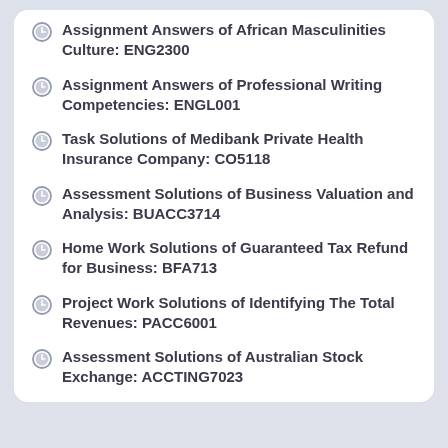Assignment Answers of African Masculinities Culture: ENG2300
Assignment Answers of Professional Writing Competencies: ENGL001
Task Solutions of Medibank Private Health Insurance Company: CO5118
Assessment Solutions of Business Valuation and Analysis: BUACC3714
Home Work Solutions of Guaranteed Tax Refund for Business: BFA713
Project Work Solutions of Identifying The Total Revenues: PACC6001
Assessment Solutions of Australian Stock Exchange: ACCTING7023